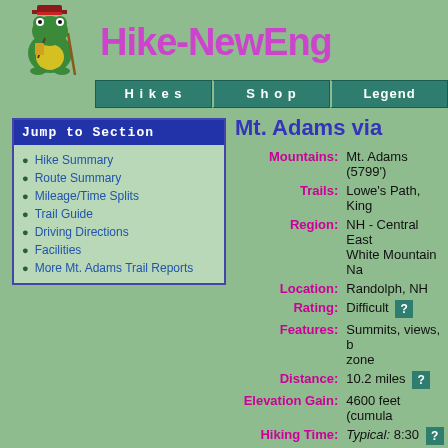Hike-NewEng...
Mt. Adams via...
Hike Summary
Route Summary
Mileage/Time Splits
Trail Guide
Driving Directions
Facilities
More Mt. Adams Trail Reports
| Field | Value |
| --- | --- |
| Mountains: | Mt. Adams (5799') |
| Trails: | Lowe's Path, King... |
| Region: | NH - Central East... White Mountain Na... |
| Location: | Randolph, NH |
| Rating: | Difficult ? |
| Features: | Summits, views, b... zone |
| Distance: | 10.2 miles ? |
| Elevation Gain: | 4600 feet (cumula... |
| Hiking Time: | Typical: 8:30 ? |
| Outing Duration: | Typical: 11:00 ? |
| Season: | Summer |
| Hike Date: | 07/24/1999 (Satur... |
| Weather: | Mostly rainy - temp... |
| Author: | Webmaster |
| Companions: | GONErs: Laura H... |